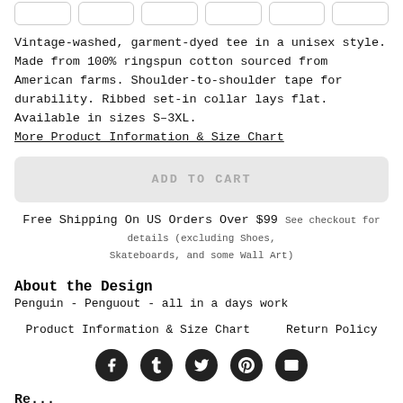[Figure (other): Partial row of rounded rectangle button/tab elements at the top of the page]
Vintage-washed, garment-dyed tee in a unisex style. Made from 100% ringspun cotton sourced from American farms. Shoulder-to-shoulder tape for durability. Ribbed set-in collar lays flat. Available in sizes S–3XL.
More Product Information & Size Chart
ADD TO CART
Free Shipping On US Orders Over $99 See checkout for details (excluding Shoes, Skateboards, and some Wall Art)
About the Design
Penguin - Penguout - all in a days work
Product Information & Size Chart    Return Policy
[Figure (other): Row of five social media icons (Facebook, Tumblr, Twitter, Pinterest, Email) as dark filled circles with white icons]
Re...